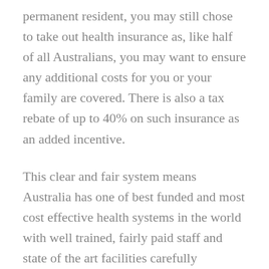permanent resident, you may still chose to take out health insurance as, like half of all Australians, you may want to ensure any additional costs for you or your family are covered. There is also a tax rebate of up to 40% on such insurance as an added incentive.
This clear and fair system means Australia has one of best funded and most cost effective health systems in the world with well trained, fairly paid staff and state of the art facilities carefully balancing value for money and patient choice.